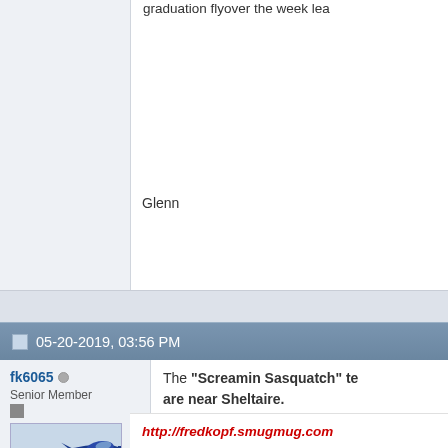graduation flyover the week lea
Glenn
05-20-2019, 03:56 PM
fk6065
Senior Member
[Figure (photo): Blue Angels F/A-18 Hornet flying low with afterburner, blue and yellow paint scheme, against a light blue sky background. Watermark text visible at bottom.]
Join Date: Oct 2008
Posts: 1,041
The "Screamin Sasquatch" te are near Sheltaire.
http://fredkopf.smugmug.com